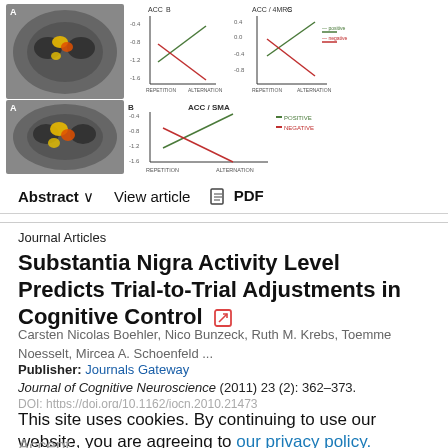[Figure (other): Brain imaging figures with associated line charts showing POSITIVE and NEGATIVE conditions across REPETITION and ALTERNATION, labeled A, B, C in top row and A, B (ACC/SMA) in bottom row.]
Abstract ∨   View article   📄 PDF
Journal Articles
Substantia Nigra Activity Level Predicts Trial-to-Trial Adjustments in Cognitive Control
Carsten Nicolas Boehler, Nico Bunzeck, Ruth M. Krebs, Toemme Noesselt, Mircea A. Schoenfeld ...
Publisher: Journals Gateway
Journal of Cognitive Neuroscience (2011) 23 (2): 362–373.
DOI: https://doi.org/10.1162/jocn.2010.21473
This site uses cookies. By continuing to use our website, you are agreeing to our privacy policy. Accept